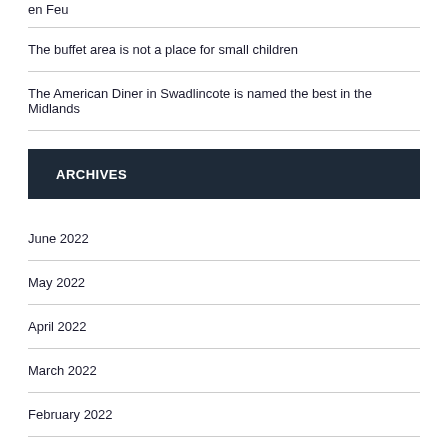en Feu
The buffet area is not a place for small children
The American Diner in Swadlincote is named the best in the Midlands
ARCHIVES
June 2022
May 2022
April 2022
March 2022
February 2022
January 2022